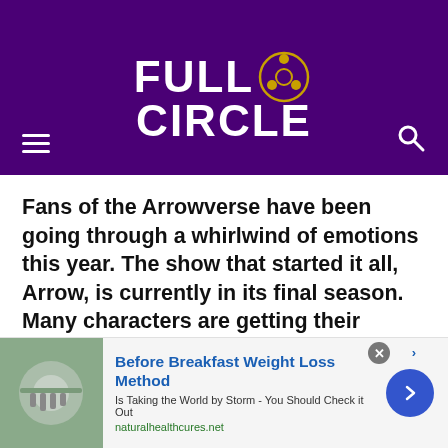FULL CIRCLE
Fans of the Arrowverse have been going through a whirlwind of emotions this year. The show that started it all, Arrow, is currently in its final season. Many characters are getting their respective storylines wrapped up on their way out. [...]
CONTINUE READING
[Figure (screenshot): Advertisement: Before Breakfast Weight Loss Method - Is Taking the World by Storm - You Should Check it Out - naturalhealthcures.net]